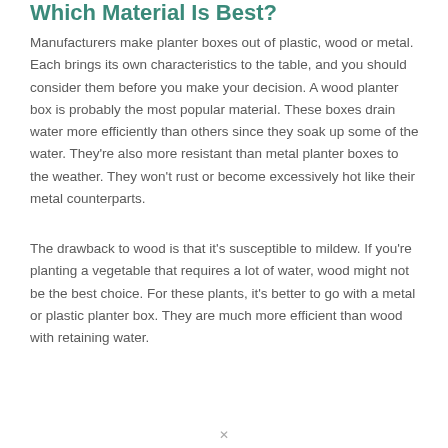Which Material Is Best?
Manufacturers make planter boxes out of plastic, wood or metal. Each brings its own characteristics to the table, and you should consider them before you make your decision. A wood planter box is probably the most popular material. These boxes drain water more efficiently than others since they soak up some of the water. They're also more resistant than metal planter boxes to the weather. They won't rust or become excessively hot like their metal counterparts.
The drawback to wood is that it's susceptible to mildew. If you're planting a vegetable that requires a lot of water, wood might not be the best choice. For these plants, it's better to go with a metal or plastic planter box. They are much more efficient than wood with retaining water.
✕